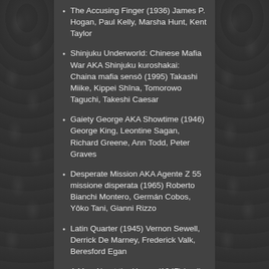The Accusing Finger (1936) James P. Hogan, Paul Kelly, Marsha Hunt, Kent Taylor
Shinjuku Underworld: Chinese Mafia War AKA Shinjuku kuroshakai: Chaina mafia sensô (1995) Takashi Miike, Kippei Shîna, Tomorowo Taguchi, Takeshi Caesar
Gaiety George AKA Showtime (1946) George King, Leontine Sagan, Richard Greene, Ann Todd, Peter Graves
Desperate Mission AKA Agente Z 55 missione disperata (1965) Roberto Bianchi Montero, Germán Cobos, Yôko Tani, Gianni Rizzo
Latin Quarter (1945) Vernon Sewell, Derrick De Marney, Frederick Valk, Beresford Egan
A Man About the House (1947) Leslie Arliss, Margaret Johnston, Dulcie Gray, Kieron Moore
Flandres (2006) Bruno Dumont, Adélaïde Leroux, Samuel Boidin, Henri Cretel
The Corporal and Others AKA A tizedes meg a többiek (1965) Márton Keleti, ...